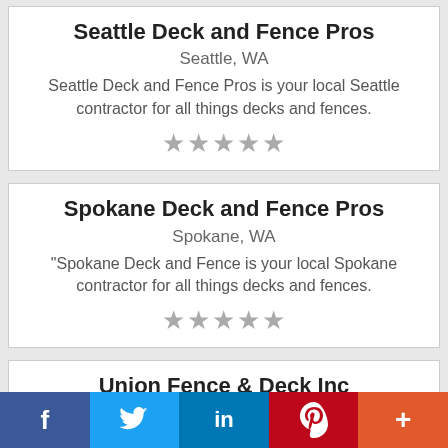Seattle Deck and Fence Pros
Seattle, WA
Seattle Deck and Fence Pros is your local Seattle contractor for all things decks and fences.
[Figure (other): Five grey star rating icons]
Spokane Deck and Fence Pros
Spokane, WA
"Spokane Deck and Fence is your local Spokane contractor for all things decks and fences.
[Figure (other): Five grey star rating icons]
Union Fence & Deck Inc
Manassas, VA
Your home should feel like your own personal sanctuary. If you're not satisfied with your
f  (Twitter bird)  in  P  +